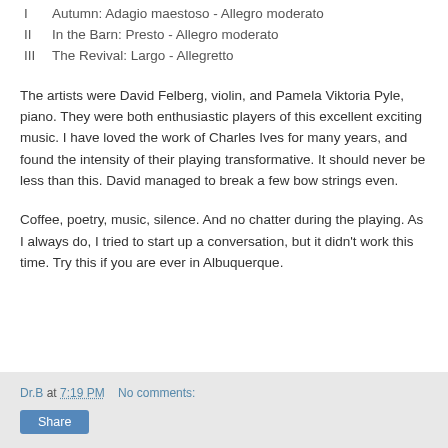I   Autumn:  Adagio maestoso - Allegro moderato
II   In the Barn:  Presto - Allegro moderato
III   The Revival:  Largo - Allegretto
The artists were David Felberg, violin, and Pamela Viktoria Pyle, piano.  They were both enthusiastic players of this excellent exciting music.  I have loved the work of Charles Ives for many years, and found the intensity of their playing transformative.  It should never be less than this.  David managed to break a few bow strings even.
Coffee, poetry, music, silence.  And no chatter during the playing.  As I always do, I tried to start up a conversation, but it didn't work this time.  Try this if you are ever in Albuquerque.
Dr.B at 7:19 PM   No comments:   Share